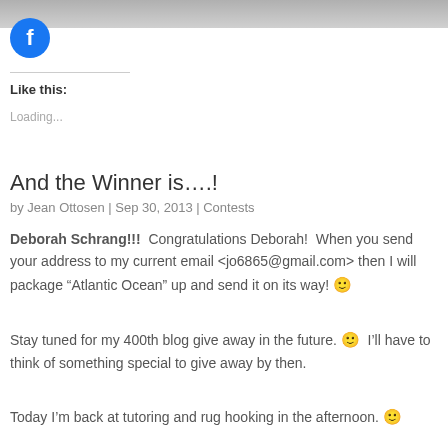[Figure (photo): Partial top image, gray/blurred photo cropped at top of page]
[Figure (logo): Facebook circular blue logo icon]
Like this:
Loading...
And the Winner is….!
by Jean Ottosen | Sep 30, 2013 | Contests
Deborah Schrang!!!  Congratulations Deborah!  When you send your address to my current email <jo6865@gmail.com> then I will package “Atlantic Ocean” up and send it on its way! 🙂
Stay tuned for my 400th blog give away in the future. 🙂  I’ll have to think of something special to give away by then.
Today I’m back at tutoring and rug hooking in the afternoon. 🙂